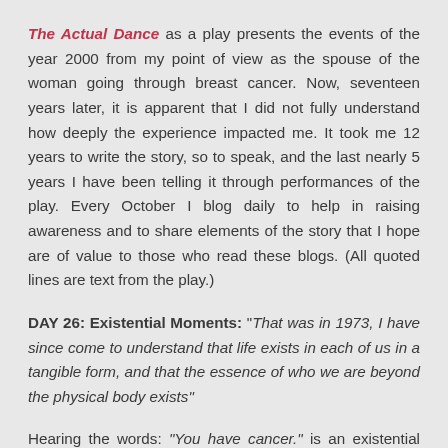The Actual Dance as a play presents the events of the year 2000 from my point of view as the spouse of the woman going through breast cancer. Now, seventeen years later, it is apparent that I did not fully understand how deeply the experience impacted me. It took me 12 years to write the story, so to speak, and the last nearly 5 years I have been telling it through performances of the play. Every October I blog daily to help in raising awareness and to share elements of the story that I hope are of value to those who read these blogs. (All quoted lines are text from the play.)
DAY 26: Existential Moments: "That was in 1973, I have since come to understand that life exists in each of us in a tangible form, and that the essence of who we are beyond the physical body exists"
Hearing the words: “You have cancer.” is an existential moment. Any time you begin to realize that your life or that of someone